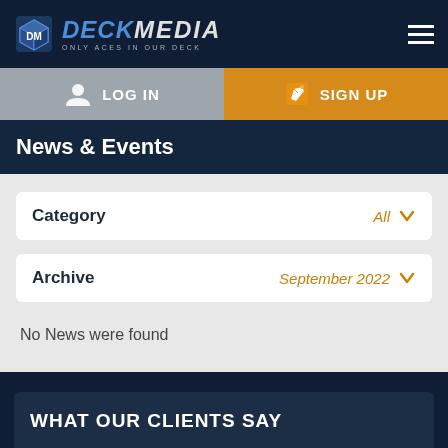[Figure (logo): Deck Media logo with cube icon and tagline 'Only Aces in Our Deck']
LOG IN
SIGN UP
News & Events
Category  All
Archive  September 2022
No News were found
WHAT OUR CLIENTS SAY